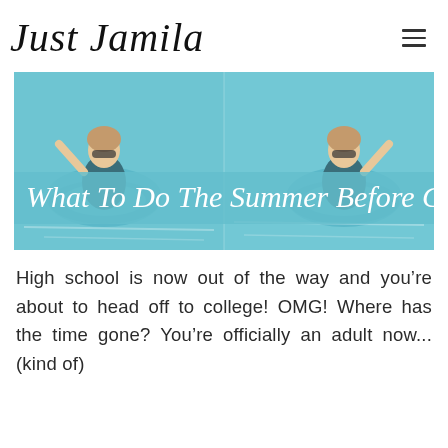Just Jamila
[Figure (photo): Blog header image showing a woman in a teal swimsuit floating on a pool ring, duplicated side by side. A semi-transparent teal banner overlaid reads 'What To Do The Summer Before College' in cursive white text.]
High school is now out of the way and you’re about to head off to college! OMG! Where has the time gone? You’re officially an adult now...(kind of)